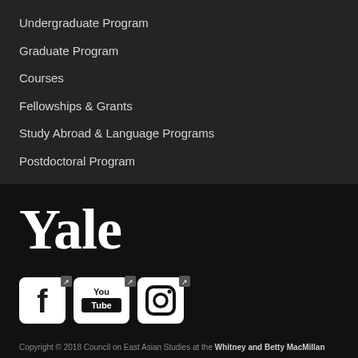Undergraduate Program
Graduate Program
Courses
Fellowships & Grants
Study Abroad & Language Programs
Postdoctoral Program
Events
[Figure (logo): Yale University wordmark in large serif white text]
[Figure (infographic): Social media icons: Facebook, YouTube, Instagram, each with external link badge]
Copyright © 2018 Council on East Asian Studies at the Whitney and Betty MacMillan